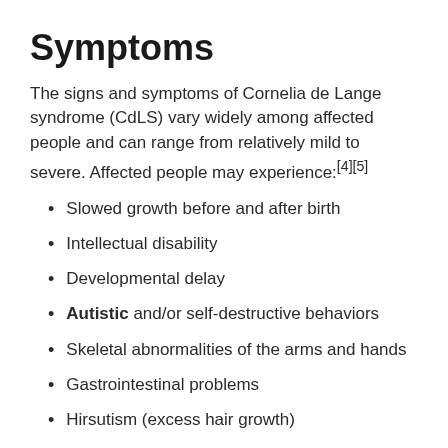Symptoms
The signs and symptoms of Cornelia de Lange syndrome (CdLS) vary widely among affected people and can range from relatively mild to severe. Affected people may experience:[4][5]
Slowed growth before and after birth
Intellectual disability
Developmental delay
Autistic and/or self-destructive behaviors
Skeletal abnormalities of the arms and hands
Gastrointestinal problems
Hirsutism (excess hair growth)
Hearing loss